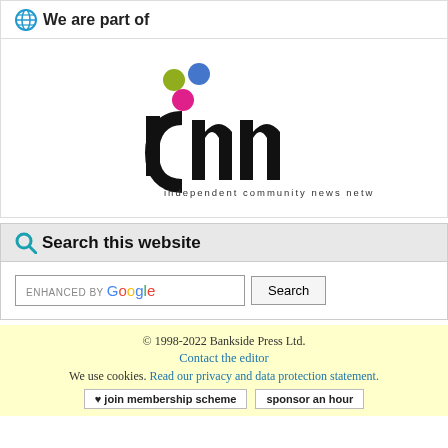We are part of
[Figure (logo): ICNN - independent community news network logo with coloured dots above stylised lettering]
Search this website
ENHANCED BY Google  Search
© 1998-2022 Bankside Press Ltd. Contact the editor We use cookies. Read our privacy and data protection statement. ♥ join membership scheme  sponsor an hour